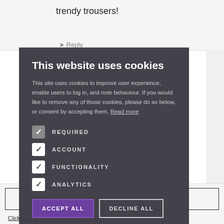trendy trousers!
Reply
[Figure (screenshot): Cookie consent overlay modal on a website with dark semi-transparent background]
This website uses cookies
This site uses cookies to improve user experience, enable users to log in, and note behaviour. If you would like to remove any of those cookies, please do so below, or consent by accepting them. Read more
REQUIRED
ACCOUNT
FUNCTIONALITY
ANALYTICS
ACCEPT ALL
DECLINE ALL
Click here to read our Privacy Policy